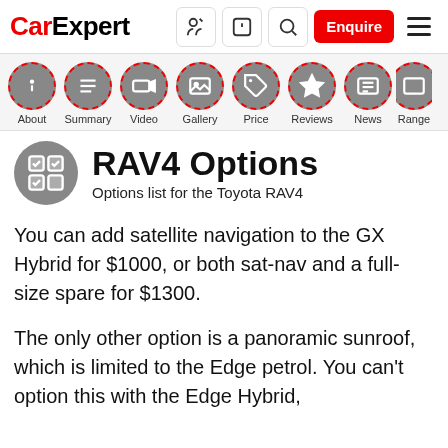CarExpert — navigation header with Enquire button
[Figure (infographic): Horizontal navigation bar with circular icon buttons: About, Summary, Video, Gallery, Price, Reviews, News, Range]
RAV4 Options
Options list for the Toyota RAV4
You can add satellite navigation to the GX Hybrid for $1000, or both sat-nav and a full-size spare for $1300.
The only other option is a panoramic sunroof, which is limited to the Edge petrol. You can't option this with the Edge Hybrid,